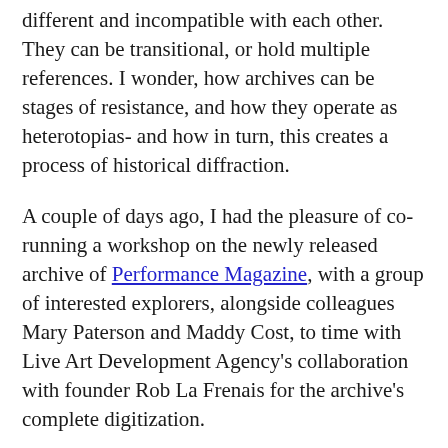different and incompatible with each other. They can be transitional, or hold multiple references. I wonder, how archives can be stages of resistance, and how they operate as heterotopias- and how in turn, this creates a process of historical diffraction.
A couple of days ago, I had the pleasure of co-running a workshop on the newly released archive of Performance Magazine, with a group of interested explorers, alongside colleagues Mary Paterson and Maddy Cost, to time with Live Art Development Agency's collaboration with founder Rob La Frenais for the archive's complete digitization.
Performance Magazine ran between 1979 – 1992, funded by the Arts Council, concerned with and instrumental in developing the term live art as an umbrella for a range of maverick performance practices.  This